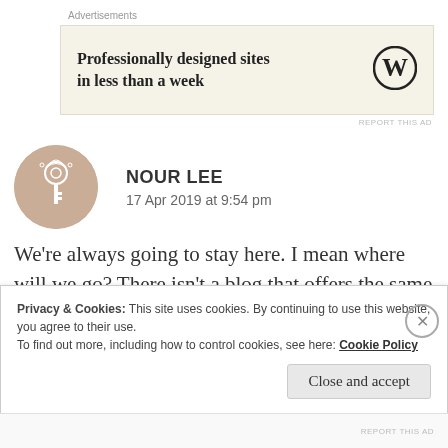Advertisements
[Figure (other): Advertisement banner: 'Professionally designed sites in less than a week' with WordPress logo on beige background]
REPORT THIS AD
NOUR LEE
17 Apr 2019 at 9:54 pm
We're always going to stay here. I mean where will we go? There isn't a blog that offers the same content with the same depth and meaning 😌
Privacy & Cookies: This site uses cookies. By continuing to use this website, you agree to their use.
To find out more, including how to control cookies, see here: Cookie Policy
Close and accept